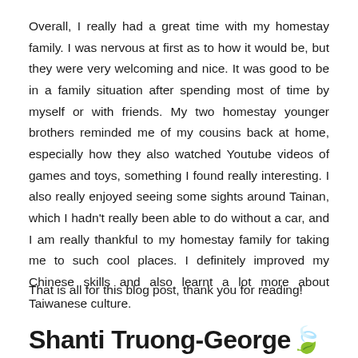Overall, I really had a great time with my homestay family. I was nervous at first as to how it would be, but they were very welcoming and nice. It was good to be in a family situation after spending most of time by myself or with friends. My two homestay younger brothers reminded me of my cousins back at home, especially how they also watched Youtube videos of games and toys, something I found really interesting. I also really enjoyed seeing some sights around Tainan, which I hadn't really been able to do without a car, and I am really thankful to my homestay family for taking me to such cool places. I definitely improved my Chinese skills and also learnt a lot more about Taiwanese culture.
That is all for this blog post, thank you for reading!
Shanti Truong-George🍃 🍂